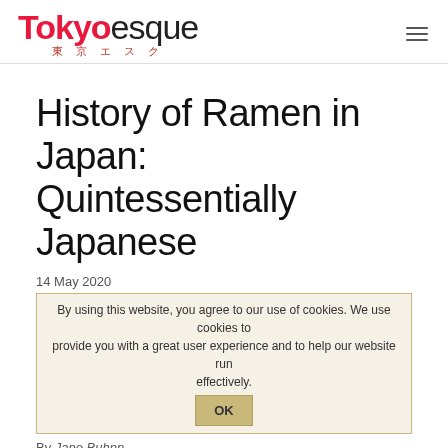Tokyoesque 東京エスク
History of Ramen in Japan: Quintessentially Japanese
14 May 2020
By using this website, you agree to our use of cookies. We use cookies to provide you with a great user experience and to help our website run effectively.
By Jane Buhnn
This week, we go on a very specific journey into the cultural and culinary aspects of ramen in Japan, and what makes it quintessentially Japanese, with this guest post, contributed by Jane Buhnn.
Privacy Policy